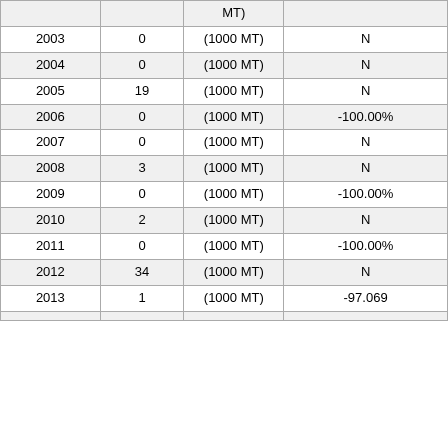| Year | Value | Unit | Change (%) |
| --- | --- | --- | --- |
|  |  | MT) |  |
| 2003 | 0 | (1000 MT) | N |
| 2004 | 0 | (1000 MT) | N |
| 2005 | 19 | (1000 MT) | N |
| 2006 | 0 | (1000 MT) | -100.00% |
| 2007 | 0 | (1000 MT) | N |
| 2008 | 3 | (1000 MT) | N |
| 2009 | 0 | (1000 MT) | -100.00% |
| 2010 | 2 | (1000 MT) | N |
| 2011 | 0 | (1000 MT) | -100.00% |
| 2012 | 34 | (1000 MT) | N |
| 2013 | 1 | (1000 MT) | -97.069 |
|  |  |  |  |